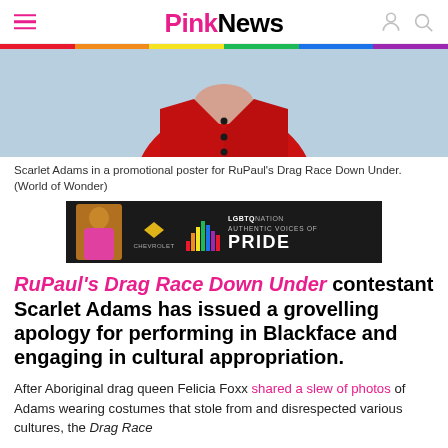PinkNews
[Figure (photo): Photo of person in red jacket against light blue background (promotional image)]
Scarlet Adams in a promotional poster for RuPaul's Drag Race Down Under. (World of Wonder)
[Figure (other): Advertisement banner: Chevrolet - LGBTQ Nation Authentic Voices of Pride]
RuPaul's Drag Race Down Under contestant Scarlet Adams has issued a grovelling apology for performing in Blackface and engaging in cultural appropriation.
After Aboriginal drag queen Felicia Foxx shared a slew of photos of Adams wearing costumes that stole from and disrespected various cultures, the Drag Race